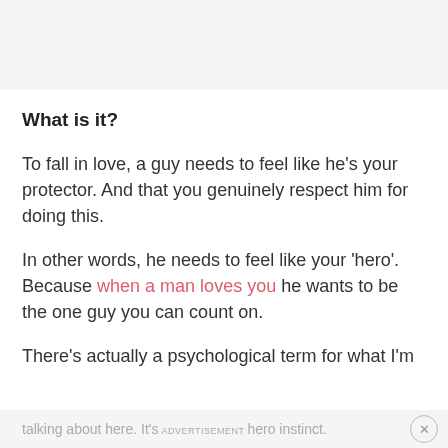What is it?
To fall in love, a guy needs to feel like he's your protector. And that you genuinely respect him for doing this.
In other words, he needs to feel like your 'hero'. Because when a man loves you he wants to be the one guy you can count on.
There's actually a psychological term for what I'm
talking about here. It's ADVERTISEMENT hero instinct.